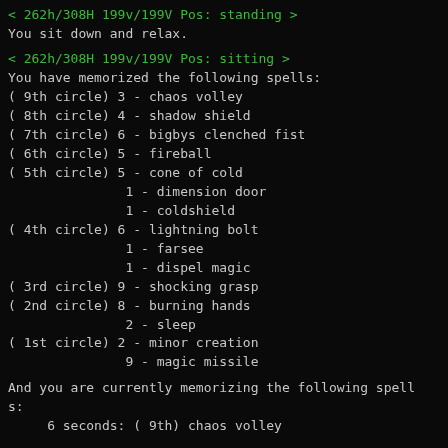< 262h/308H 199v/199V Pos: standing >
You sit down and relax.
< 262h/308H 199v/199V Pos: sitting >
You have memorized the following spells:
( 9th circle)  3 - chaos volley
( 8th circle)  4 - shadow shield
( 7th circle)  6 - bigbys clenched fist
( 6th circle)  5 - fireball
( 5th circle)  5 - cone of cold
1 - dimension door
1 - coldshield
( 4th circle)  6 - lightning bolt
1 - farsee
1 - dispel magic
( 3rd circle)  9 - shocking grasp
( 2nd circle)  8 - burning hands
2 - sleep
( 1st circle)  2 - minor creation
9 - magic missile
And you are currently memorizing the following spells:
6 seconds:  ( 9th) chaos volley